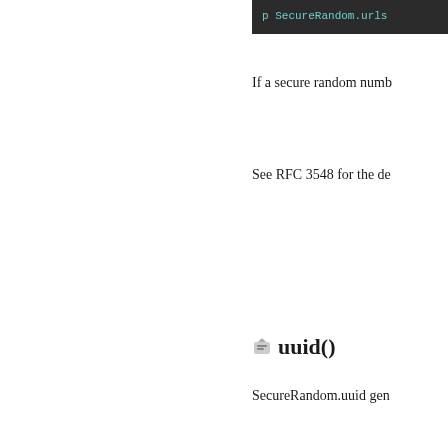[Figure (screenshot): Code block showing: p SecureRandom.urls]
If a secure random numb
See RFC 3548 for the de
uuid()
SecureRandom.uuid gen
[Figure (screenshot): Code block showing three lines: p SecureRandom.uuid / p SecureRandom.uuid / p SecureRandom.uuid]
The version 4 UUID is p information such as MA
The result contains 122
See RFC 4122 for detail